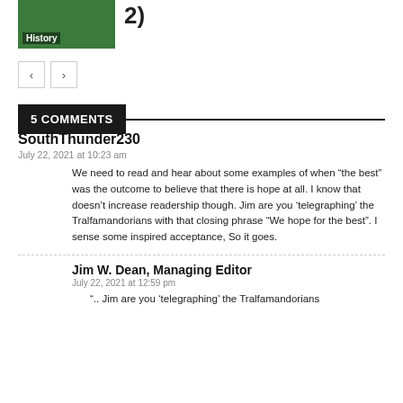[Figure (photo): Green-tinted thumbnail image with 'History' label overlay, partial number '2)' visible to the right]
2)
< >  (pagination buttons)
5 COMMENTS
SouthThunder230
July 22, 2021 at 10:23 am
We need to read and hear about some examples of when “the best” was the outcome to believe that there is hope at all. I know that doesn’t increase readership though. Jim are you ‘telegraphing’ the Tralfamandorians with that closing phrase “We hope for the best”. I sense some inspired acceptance, So it goes.
Jim W. Dean, Managing Editor
July 22, 2021 at 12:59 pm
“.. Jim are you ‘telegraphing’ the Tralfamandorians